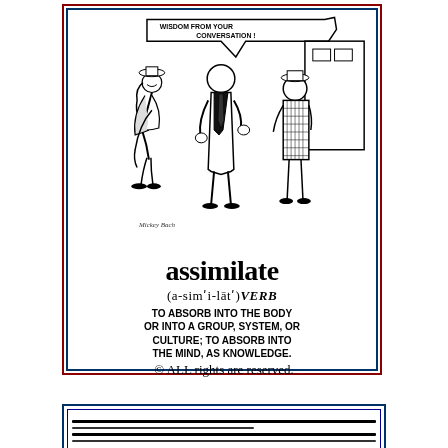[Figure (illustration): Vocabulary flashcard illustration by Mickey Bach showing three cartoon characters in conversation, with the word 'assimilate' defined below. Speech bubble reads 'WISDOM FROM YOUR CONVERSATION!'. Large text shows the word 'assimilate', its phonetic pronunciation (a-sim'i-lat) VERB, and definition: TO ABSORB INTO THE BODY OR INTO A GROUP, SYSTEM, OR CULTURE; TO ABSORB INTO THE MIND, AS KNOWLEDGE.]
© ALL rights are reserved.
[Figure (other): Partial view of another vocabulary flashcard at the bottom of the page.]